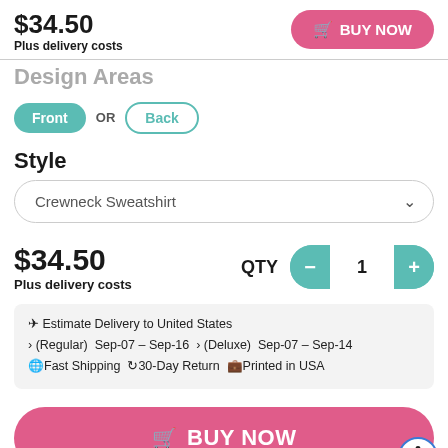$34.50
Plus delivery costs
BUY NOW
Design Areas
Front OR Back
Style
Crewneck Sweatshirt
$34.50
Plus delivery costs
QTY 1
Estimate Delivery to United States
(Regular) Sep-07 – Sep-16 (Deluxe) Sep-07 – Sep-14
Fast Shipping  30-Day Return  Printed in USA
BUY NOW